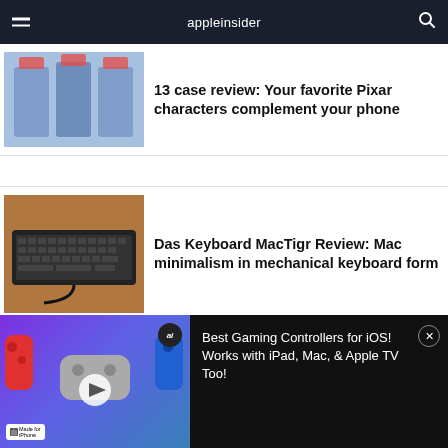appleinsider
[Figure (photo): Three iPhone cases with Pixar Toy Story characters displayed against a blue background]
13 case review: Your favorite Pixar characters complement your phone
[Figure (photo): Das Keyboard MacTigr mechanical keyboard on a wooden surface with dramatic lighting]
Das Keyboard MacTigr Review: Mac minimalism in mechanical keyboard form
[Figure (photo): Gaming controllers including Nintendo Switch Joy-Cons, game controllers for iOS, iPad, Mac and Apple TV. Made for iPhone badge visible.]
Best Gaming Controllers for iOS! Works with iPad, Mac, & Apple TV Too!